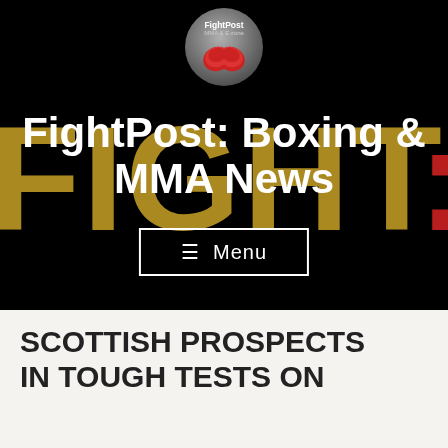[Figure (logo): FightPost MMA & Boxing circular logo with boxing gloves icon]
FightPost: Boxing & MMA News
[Figure (screenshot): FIGHTZONE golden text banner in background]
☰ Menu
SCOTTISH PROSPECTS IN TOUGH TESTS ON